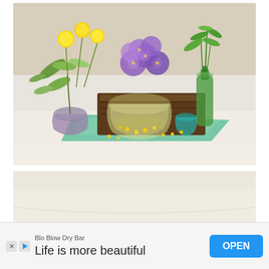[Figure (photo): Photo of a floral centerpiece arrangement featuring purple hydrangeas, yellow ball flowers (craspedia), green leaves and eucalyptus in glass vases and bottles arranged on a mirrored tray on a white tablecloth.]
[Figure (photo): Photo of a white tablecloth-covered table, mostly empty with a slight glimpse of a white plate or dish visible at the very bottom edge.]
Blo Blow Dry Bar
Life is more beautiful
OPEN